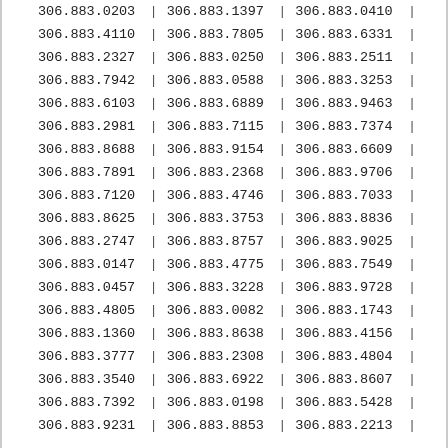| col1 | col2 | col3 |
| --- | --- | --- |
| 306.883.0203 | 306.883.1397 | 306.883.0410 |
| 306.883.4110 | 306.883.7805 | 306.883.6331 |
| 306.883.2327 | 306.883.0250 | 306.883.2511 |
| 306.883.7942 | 306.883.0588 | 306.883.3253 |
| 306.883.6103 | 306.883.6889 | 306.883.9463 |
| 306.883.2981 | 306.883.7115 | 306.883.7374 |
| 306.883.8688 | 306.883.9154 | 306.883.6609 |
| 306.883.7891 | 306.883.2368 | 306.883.9706 |
| 306.883.7120 | 306.883.4746 | 306.883.7033 |
| 306.883.8625 | 306.883.3753 | 306.883.8836 |
| 306.883.2747 | 306.883.8757 | 306.883.9025 |
| 306.883.0147 | 306.883.4775 | 306.883.7549 |
| 306.883.0457 | 306.883.3228 | 306.883.9728 |
| 306.883.4805 | 306.883.0082 | 306.883.1743 |
| 306.883.1360 | 306.883.8638 | 306.883.4156 |
| 306.883.3777 | 306.883.2308 | 306.883.4804 |
| 306.883.3540 | 306.883.6922 | 306.883.8607 |
| 306.883.7392 | 306.883.0198 | 306.883.5428 |
| 306.883.9231 | 306.883.8853 | 306.883.2213 |